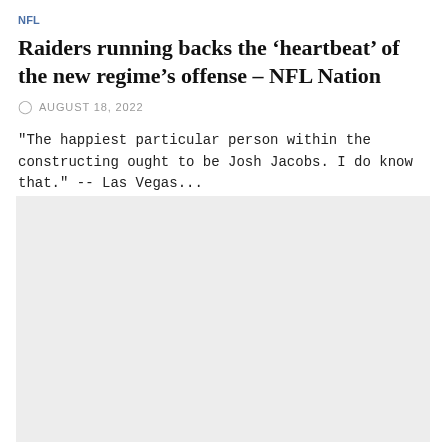NFL
Raiders running backs the ‘heartbeat’ of the new regime’s offense – NFL Nation
AUGUST 18, 2022
"The happiest particular person within the constructing ought to be Josh Jacobs. I do know that." -- Las Vegas...
[Figure (photo): Light gray image placeholder rectangle below the article text]